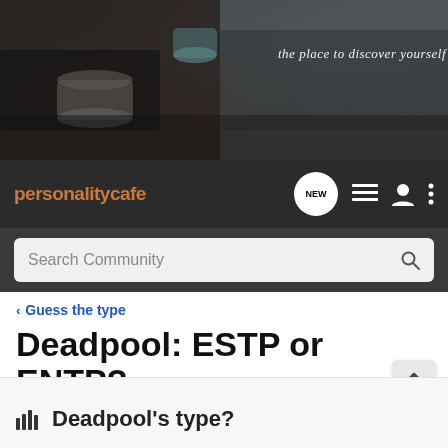[Figure (photo): Website header banner showing a coffee cup on a dark table, with italic script text 'the place to discover yourself' on the right side]
personalitycafe — navigation bar with NEW chat bubble, list icon, person icon, and more icon. Search Community bar.
< Guess the type
Deadpool: ESTP or ENTP?
Tags: deadpool  entp  estp  mbti
→ Jump to Latest    ⊕ Follow
Deadpool's type?